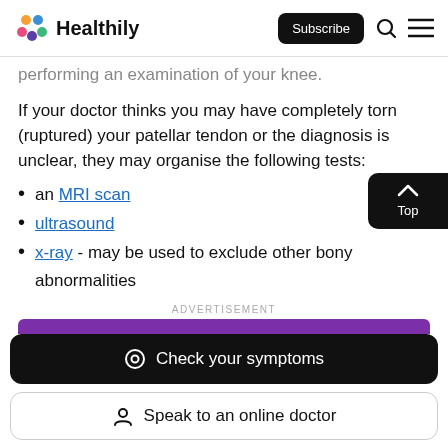Healthily — Subscribe
performing an examination of your knee.
If your doctor thinks you may have completely torn (ruptured) your patellar tendon or the diagnosis is unclear, they may organise the following tests:
an MRI scan
ultrasound
x-ray - may be used to exclude other bony abnormalities
[Figure (screenshot): Purple advertisement banner]
Check your symptoms
Speak to an online doctor